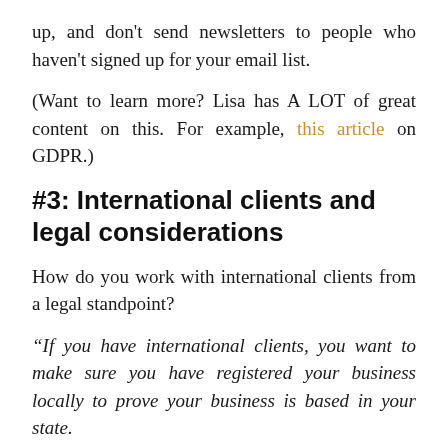up, and don't send newsletters to people who haven't signed up for your email list.
(Want to learn more? Lisa has A LOT of great content on this. For example, this article on GDPR.)
#3: International clients and legal considerations
How do you work with international clients from a legal standpoint?
“If you have international clients, you want to make sure you have registered your business locally to prove your business is based in your state.